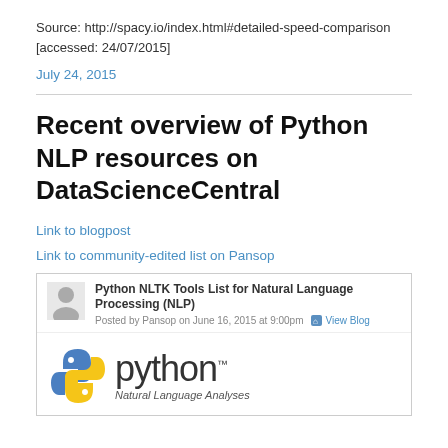Source: http://spacy.io/index.html#detailed-speed-comparison [accessed: 24/07/2015]
July 24, 2015
Recent overview of Python NLP resources on DataScienceCentral
Link to blogpost
Link to community-edited list on Pansop
[Figure (screenshot): Screenshot of a DataScienceCentral blog post titled 'Python NLTK Tools List for Natural Language Processing (NLP)' posted by Pansop on June 16, 2015 at 9:00pm, with a Python logo and text 'Natural Language Analyses']